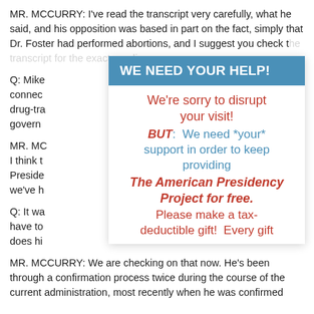MR. MCCURRY: I've read the transcript very carefully, what he said, and his opposition was based in part on the fact, simply that Dr. Foster had performed abortions, and I suggest you check t[he transcript for the exact words.]
Q: Mike [... people connected] [...] to and drug-tra[fficking] govern[ment]
MR. MC[CURRY: ...] ry, and I think t[he] r Preside[nt ...] ntacts we've h[ad]
Q: It wa[s ...] h will have to[...] s, or does hi[s ...]
MR. MCCURRY: We are checking on that now. He's been through a confirmation process twice during the course of the current administration, most recently when he was confirmed
[Figure (infographic): Popup overlay with blue header 'WE NEED YOUR HELP!' and white body containing fundraising message: 'We're sorry to disrupt your visit! BUT: We need *your* support in order to keep providing The American Presidency Project for free. Please make a tax-deductible gift! Every gift']